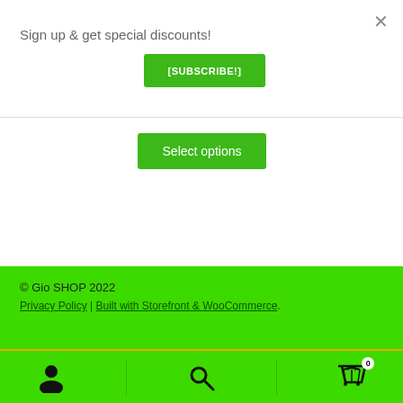×
Sign up & get special discounts!
[SUBSCRIBE!]
Select options
© Gio SHOP 2022
Privacy Policy | Built with Storefront & WooCommerce.
[Figure (screenshot): Bottom navigation bar with person/account icon, search icon, and cart icon with badge showing 0, on green background]